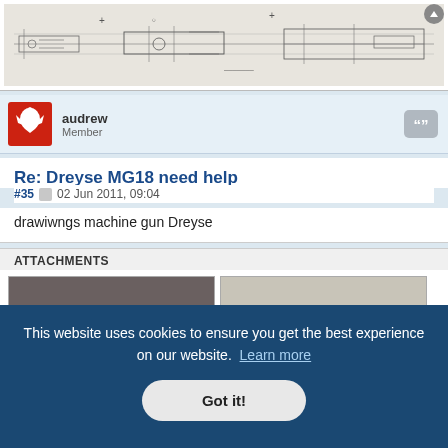[Figure (engineering-diagram): Technical engineering drawing of what appears to be a machine gun mechanism, showing side view schematics with various mechanical components, crosshairs, and annotations.]
audrew
Member
Re: Dreyse MG18 need help
#35  02 Jun 2011, 09:04
drawiwngs machine gun Dreyse
ATTACHMENTS
[Figure (photo): Two attachment images partially visible — left shows a dark technical document labeled BERGMAN, right shows another technical drawing labeled DREYSE.]
This website uses cookies to ensure you get the best experience on our website. Learn more
Got it!